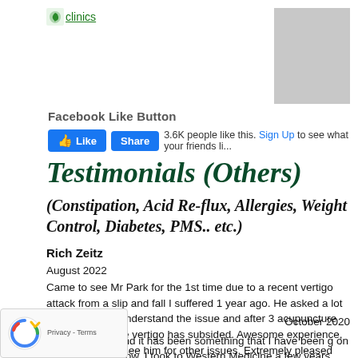[Figure (logo): Clinics logo with leaf icon and green text link]
[Figure (photo): Gray placeholder rectangle top right]
Facebook Like Button
[Figure (screenshot): Facebook Like and Share buttons with '3.6K people like this. Sign Up to see what your friends li...']
Testimonials (Others)
(Constipation, Acid Re-flux, Allergies, Weight Control, Diabetes, PMS.. etc.)
Rich Zeitz
August 2022
Came to see Mr Park for the 1st time due to a recent vertigo attack from a slip and fall I suffered 1 year ago. He asked a lot of questions to understand the issue and after 3 acupuncture appointments the vertigo has subsided. Awesome experience, and continue to see him for other issues. Extremely pleased with the results.
n Mehdi
October 2020
o have a child and it has been something that I have been g on for a long time now. I took to Western Medicine a few years ago in the hope that I would conceive, but it didn't work for me, and